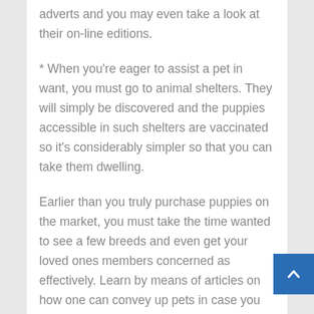adverts and you may even take a look at their on-line editions.
* When you're eager to assist a pet in want, you must go to animal shelters. They will simply be discovered and the puppies accessible in such shelters are vaccinated so it's considerably simpler so that you can take them dwelling.
Earlier than you truly purchase puppies on the market, you must take the time wanted to see a few breeds and even get your loved ones members concerned as effectively. Learn by means of articles on how one can convey up pets in case you are a primary time canine proprietor. These supply an incredible perception on attention-grabbing info about puppies and their natu...
Aside from pet shops, you may strategy particular